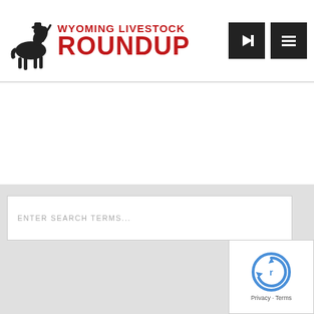Wyoming Livestock Roundup
something that we need to continue to address.
But for now, despite all concerns, just keep producing that delicious, high quality product that we all love – beef.
Saige
ENTER SEARCH TERMS...